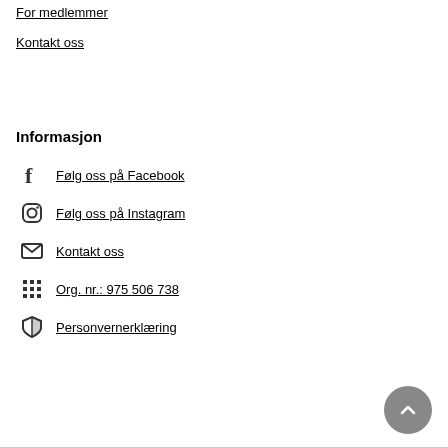For medlemmer
Kontakt oss
Informasjon
Følg oss på Facebook
Følg oss på Instagram
Kontakt oss
Org. nr.: 975 506 738
Personvernerklæring